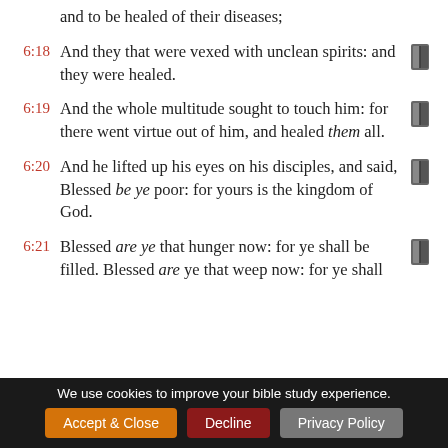and to be healed of their diseases;
6:18 And they that were vexed with unclean spirits: and they were healed.
6:19 And the whole multitude sought to touch him: for there went virtue out of him, and healed them all.
6:20 And he lifted up his eyes on his disciples, and said, Blessed be ye poor: for yours is the kingdom of God.
6:21 Blessed are ye that hunger now: for ye shall be filled. Blessed are ye that weep now: for ye shall
We use cookies to improve your bible study experience.
Accept & Close | Decline | Privacy Policy